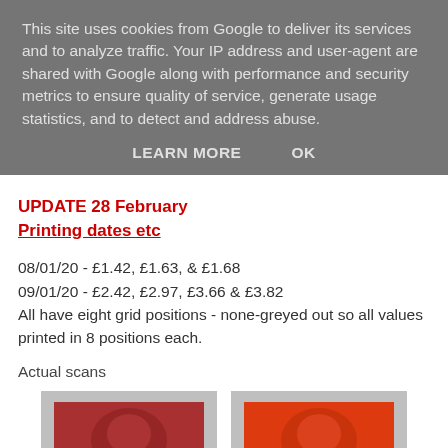This site uses cookies from Google to deliver its services and to analyze traffic. Your IP address and user-agent are shared with Google along with performance and security metrics to ensure quality of service, generate usage statistics, and to detect and address abuse.
LEARN MORE   OK
UPDATE 28 February
Printing dates etc
08/01/20 - £1.42, £1.63, & £1.68
09/01/20 - £2.42, £2.97, £3.66 & £3.82
All have eight grid positions - none-greyed out so all values printed in 8 positions each.
Actual scans
[Figure (photo): Two postage stamps side by side - a darker red/crimson stamp on the left and a brighter orange-red stamp on the right, both showing Machin head design]